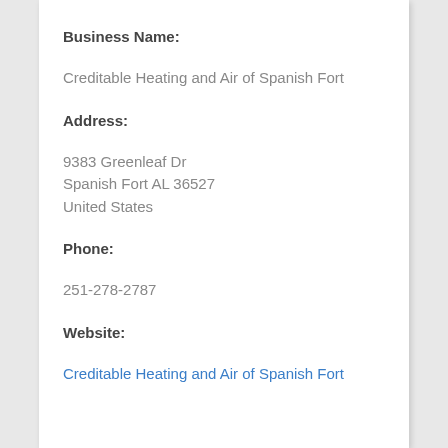Business Name:
Creditable Heating and Air of Spanish Fort
Address:
9383 Greenleaf Dr
Spanish Fort AL 36527
United States
Phone:
251-278-2787
Website:
Creditable Heating and Air of Spanish Fort